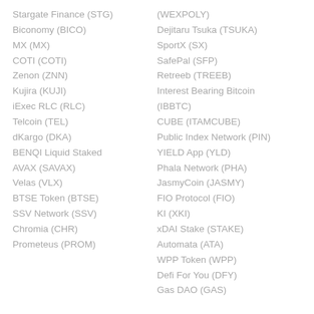Stargate Finance (STG)
Biconomy (BICO)
MX (MX)
COTI (COTI)
Zenon (ZNN)
Kujira (KUJI)
iExec RLC (RLC)
Telcoin (TEL)
dKargo (DKA)
BENQI Liquid Staked AVAX (SAVAX)
Velas (VLX)
BTSE Token (BTSE)
SSV Network (SSV)
Chromia (CHR)
Prometeus (PROM)
(WEXPOLY)
Dejitaru Tsuka (TSUKA)
SportX (SX)
SafePal (SFP)
Retreeb (TREEB)
Interest Bearing Bitcoin (IBBTC)
CUBE (ITAMCUBE)
Public Index Network (PIN)
YIELD App (YLD)
Phala Network (PHA)
JasmyCoin (JASMY)
FIO Protocol (FIO)
KI (XKI)
xDAI Stake (STAKE)
Automata (ATA)
WPP Token (WPP)
Defi For You (DFY)
Gas DAO (GAS)